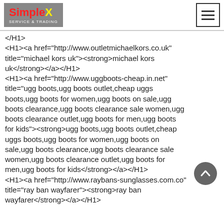SimpleX Service & Trading
</H1>
<H1><a href="http://www.outletmichaelkors.co.uk" title="michael kors uk"><strong>michael kors uk</strong></a></H1>
<H1><a href="http://www.uggboots-cheap.in.net" title="ugg boots,ugg boots outlet,cheap uggs boots,ugg boots for women,ugg boots on sale,ugg boots clearance,ugg boots clearance sale women,ugg boots clearance outlet,ugg boots for men,ugg boots for kids"><strong>ugg boots,ugg boots outlet,cheap uggs boots,ugg boots for women,ugg boots on sale,ugg boots clearance,ugg boots clearance sale women,ugg boots clearance outlet,ugg boots for men,ugg boots for kids</strong></a></H1>
<H1><a href="http://www.raybans-sunglasses.com.co" title="ray ban wayfarer"><strong>ray ban wayfarer</strong></a></H1>